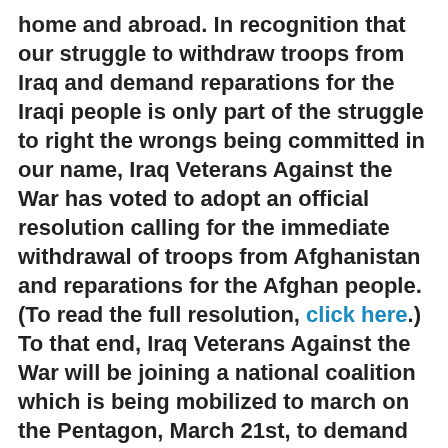home and abroad. In recognition that our struggle to withdraw troops from Iraq and demand reparations for the Iraqi people is only part of the struggle to right the wrongs being committed in our name, Iraq Veterans Against the War has voted to adopt an official resolution calling for the immediate withdrawal of troops from Afghanistan and reparations for the Afghan people. (To read the full resolution, click here.) To that end, Iraq Veterans Against the War will be joining a national coalition which is being mobilized to march on the Pentagon, March 21st, to demand the immediate withdrawal of troops from Iraq and Afghanistan and further our mission and goals in solidarity with the national anti-war movement. This demonstration will be the first opportunity to show President Obama and the new administration that our struggle was not only against the Bush administration - and that we will not sit around and hope that troops are removed under his rule, but that we will demand they be removed immediately.For more information on the March 21st March on the Pentagon, and additional events being organized in San Francisco, Los Angeles, and Orlando,